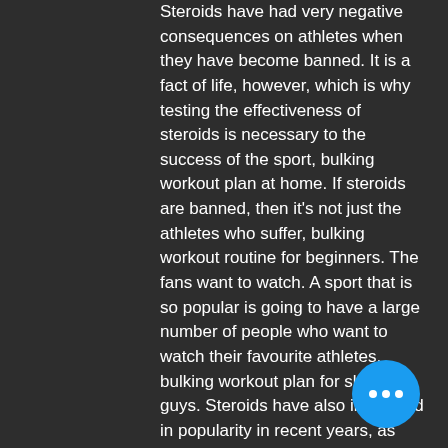Steroids have had very negative consequences on athletes when they have become banned. It is a fact of life, however, which is why testing the effectiveness of steroids is necessary to the success of the sport, bulking workout plan at home. If steroids are banned, then it's not just the athletes who suffer, bulking workout routine for beginners. The fans want to watch. A sport that is so popular is going to have a large number of people who want to watch their favourite athletes, bulking workout plan for skinny guys. Steroids have also increased in popularity in recent years, as many athletes began using performance-enhancing drugs to improve the performance on the field.
A study by the National Institute for Health and Care Excellence (NICE) in England examined the effects of the use of PED which was recommended by the